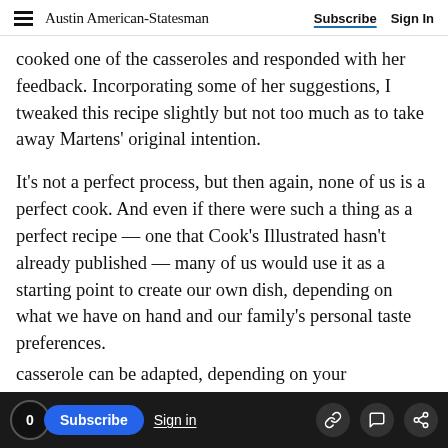Austin American-Statesman  Subscribe  Sign In
cooked one of the casseroles and responded with her feedback. Incorporating some of her suggestions, I tweaked this recipe slightly but not too much as to take away Martens' original intention.
It's not a perfect process, but then again, none of us is a perfect cook. And even if there were such a thing as a perfect recipe — one that Cook's Illustrated hasn't already published — many of us would use it as a starting point to create our own dish, depending on what we have on hand and our family's personal taste preferences.
casserole can be adapted, depending on your